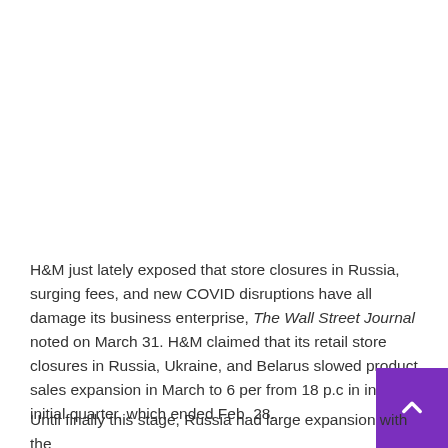H&M just lately exposed that store closures in Russia, surging fees, and new COVID disruptions have all damage its business enterprise, The Wall Street Journal noted on March 31. H&M claimed that its retail store closures in Russia, Ukraine, and Belarus slowed product sales expansion in March to 6 per from 18 p.c in in its initial quarter, which ended Feb. 28.
Until finally this stage, Russia had large expansion with the